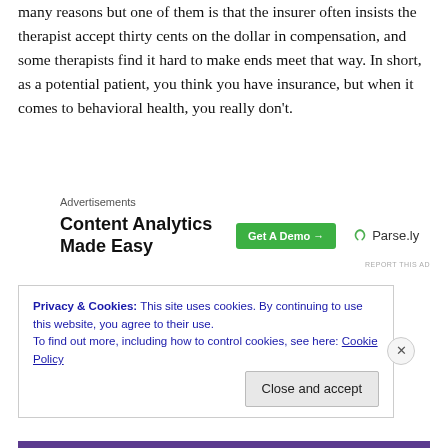many reasons but one of them is that the insurer often insists the therapist accept thirty cents on the dollar in compensation, and some therapists find it hard to make ends meet that way. In short, as a potential patient, you think you have insurance, but when it comes to behavioral health, you really don't.
[Figure (other): Advertisement banner for Parse.ly: 'Content Analytics Made Easy' with a green 'Get A Demo →' button and Parse.ly logo]
My main point is to provide guidance as to some things you can do to get the help you need with emotional or
Privacy & Cookies: This site uses cookies. By continuing to use this website, you agree to their use.
To find out more, including how to control cookies, see here: Cookie Policy